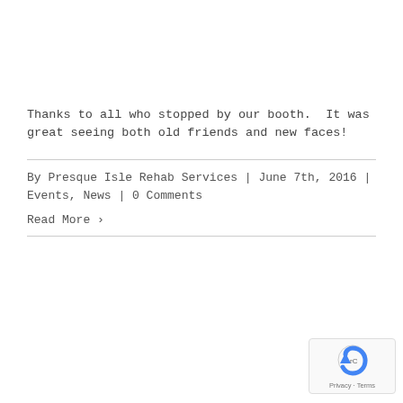Thanks to all who stopped by our booth.  It was great seeing both old friends and new faces!
By Presque Isle Rehab Services | June 7th, 2016 | Events, News | 0 Comments
Read More ›
[Figure (logo): reCAPTCHA badge with Privacy and Terms links]